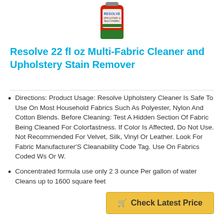[Figure (photo): Resolve Upholstery & Multi-Fabric cleaner product bottle — red label with green accent]
Resolve 22 fl oz Multi-Fabric Cleaner and Upholstery Stain Remover
Directions: Product Usage: Resolve Upholstery Cleaner Is Safe To Use On Most Household Fabrics Such As Polyester, Nylon And Cotton Blends. Before Cleaning: Test A Hidden Section Of Fabric Being Cleaned For Colorfastness. If Color Is Affected, Do Not Use. Not Recommended For Velvet, Silk, Vinyl Or Leather. Look For Fabric Manufacturer'S Cleanability Code Tag. Use On Fabrics Coded Ws Or W.
Concentrated formula use only 2 3 ounce Per gallon of water Cleans up to 1600 square feet